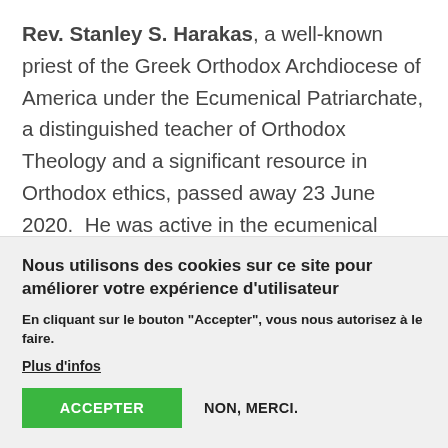Rev. Stanley S. Harakas, a well-known priest of the Greek Orthodox Archdiocese of America under the Ecumenical Patriarchate, a distinguished teacher of Orthodox Theology and a significant resource in Orthodox ethics, passed away 23 June 2020.  He was active in the ecumenical movement on local, state and international levels.  He was a plenary speaker at the Seventh Assembly of the World Council of Churches in Canberra, Australia, and from 1990-1998 [continues below fold]
Nous utilisons des cookies sur ce site pour améliorer votre expérience d'utilisateur
En cliquant sur le bouton "Accepter", vous nous autorisez à le faire.
Plus d'infos
ACCEPTER
NON, MERCI.